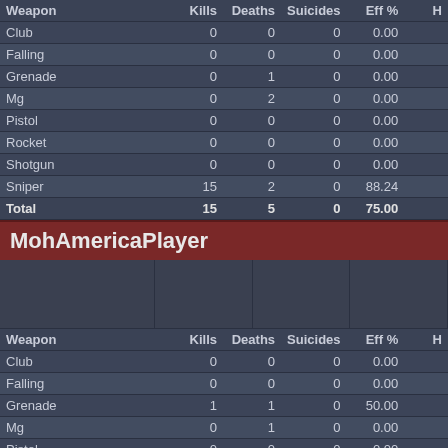| Weapon | Kills | Deaths | Suicides | Eff % | H |
| --- | --- | --- | --- | --- | --- |
| Club | 0 | 0 | 0 | 0.00 |  |
| Falling | 0 | 0 | 0 | 0.00 |  |
| Grenade | 0 | 1 | 0 | 0.00 |  |
| Mg | 0 | 2 | 0 | 0.00 |  |
| Pistol | 0 | 0 | 0 | 0.00 |  |
| Rocket | 0 | 0 | 0 | 0.00 |  |
| Shotgun | 0 | 0 | 0 | 0.00 |  |
| Sniper | 15 | 2 | 0 | 88.24 |  |
| Total | 15 | 5 | 0 | 75.00 |  |
MohAmericaPlayer
| Weapon | Kills | Deaths | Suicides | Eff % | H |
| --- | --- | --- | --- | --- | --- |
| Club | 0 | 0 | 0 | 0.00 |  |
| Falling | 0 | 0 | 0 | 0.00 |  |
| Grenade | 1 | 1 | 0 | 50.00 |  |
| Mg | 0 | 1 | 0 | 0.00 |  |
| Pistol | 0 | 0 | 0 | 0.00 |  |
| Rocket | 0 | 0 | 0 | 0.00 |  |
| Shotgun | 0 | 0 | 0 | 0.00 |  |
| Sniper | 6 | 9 | 0 | 40.00 |  |
| Total | 7 | 11 | 0 | 38.89 |  |
UnnamedSoldier